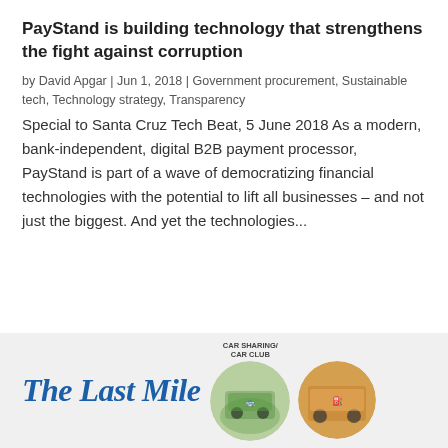PayStand is building technology that strengthens the fight against corruption
by David Apgar | Jun 1, 2018 | Government procurement, Sustainable tech, Technology strategy, Transparency
Special to Santa Cruz Tech Beat, 5 June 2018 As a modern, bank-independent, digital B2B payment processor, PayStand is part of a wave of democratizing financial technologies with the potential to lift all businesses – and not just the biggest. And yet the technologies...
[Figure (illustration): Advertisement banner with 'The Last Mile' text in blue serif italic font, accompanied by circular photo thumbnails of car sharing/car club content on a light gray background]